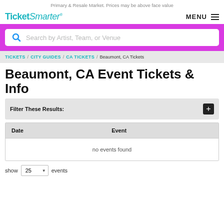Primary & Resale Market. Prices may be above face value
[Figure (logo): TicketSmarter logo in teal/cyan color]
MENU
[Figure (screenshot): Search box with magenta background and white input field reading 'Search by Artist, Team, or Venue']
TICKETS / CITY GUIDES / CA TICKETS / Beaumont, CA Tickets
Beaumont, CA Event Tickets & Info
Filter These Results:
| Date | Event |
| --- | --- |
| no events found |  |
show 25 events